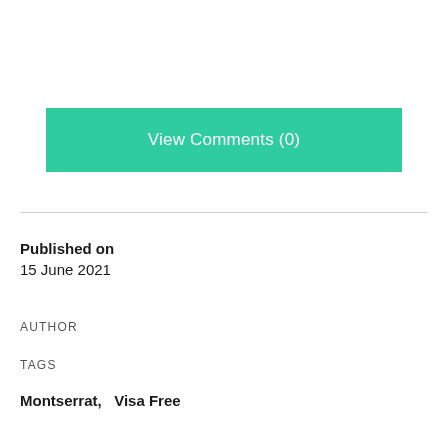View Comments (0)
Published on
15 June 2021
AUTHOR
TAGS
Montserrat,   Visa Free